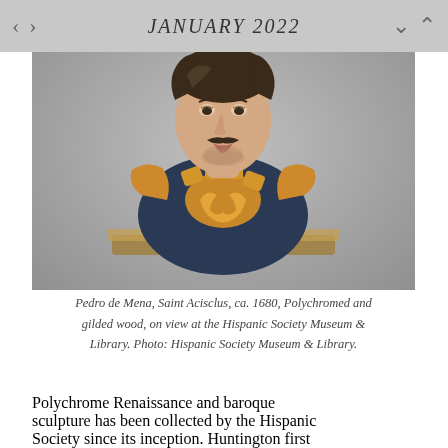JANUARY 2022
[Figure (photo): Polychromed and gilded wood bust sculpture of Saint Acisclus by Pedro de Mena, ca. 1680. The bust shows a young man wearing Roman-style armor with gold gilding and a dark blue breastplate, on a grey background.]
Pedro de Mena, Saint Acisclus, ca. 1680, Polychromed and gilded wood, on view at the Hispanic Society Museum & Library. Photo: Hispanic Society Museum & Library.
Polychrome Renaissance and baroque sculpture has been collected by the Hispanic Society since its inception. Huntington first acquired them at a time when they could be had...